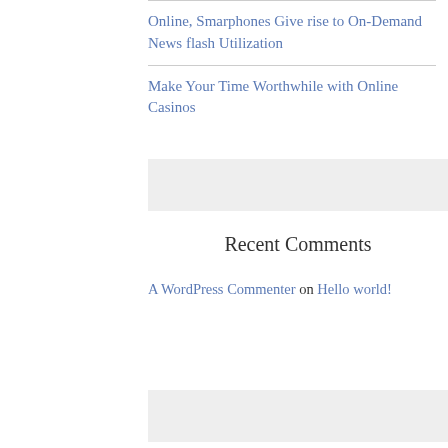Online, Smarphones Give rise to On-Demand News flash Utilization
Make Your Time Worthwhile with Online Casinos
Recent Comments
A WordPress Commenter on Hello world!